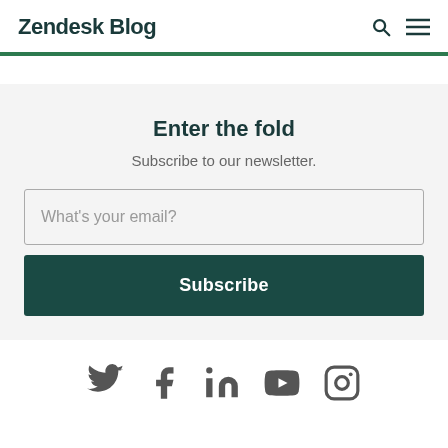Zendesk Blog
Enter the fold
Subscribe to our newsletter.
What's your email?
Subscribe
[Figure (illustration): Social media icons: Twitter, Facebook, LinkedIn, YouTube, Instagram]